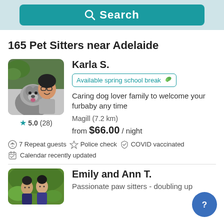[Figure (screenshot): Teal search button at top of app screen]
165 Pet Sitters near Adelaide
[Figure (photo): Photo of Karla S. with her dog, a dark fluffy dog in front, woman with glasses smiling behind]
5.0 (28)
Karla S.
Available spring school break
Caring dog lover family to welcome your furbaby any time
Magill (7.2 km)
from $66.00 / night
7 Repeat guests   Police check   COVID vaccinated
Calendar recently updated
[Figure (photo): Photo of Emily and Ann T., two women standing outdoors]
Emily and Ann T.
Passionate paw sitters - doubling up